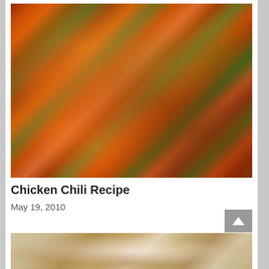[Figure (photo): Close-up photo of chicken chili dish with green peppers, red peppers, chicken pieces, onions in a spicy reddish-brown sauce, shown in a wok or pan]
Chicken Chili Recipe
May 19, 2010
[Figure (photo): Partial photo of another food dish on a white plate, appears to be a chicken or meat dish with vegetables]